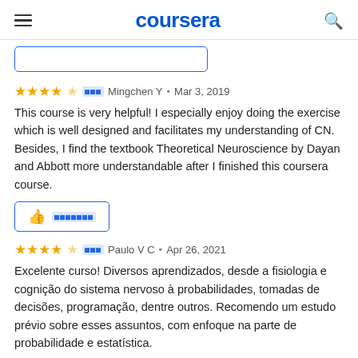coursera
This course is very helpful! I especially enjoy doing the exercise which is well designed and facilitates my understanding of CN. Besides, I find the textbook Theoretical Neuroscience by Dayan and Abbott more understandable after I finished this coursera course.
Excelente curso! Diversos aprendizados, desde a fisiologia e cognição do sistema nervoso à probabilidades, tomadas de decisões, programação, dentre outros. Recomendo um estudo prévio sobre esses assuntos, com enfoque na parte de probabilidade e estatística.